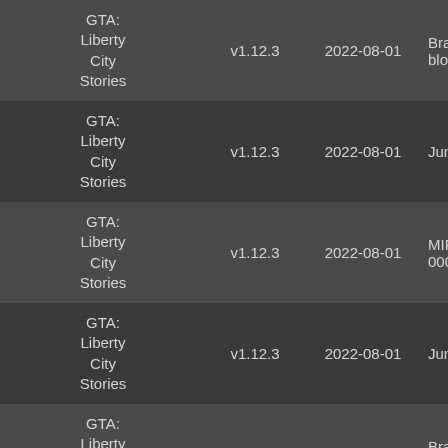| Game | Version | Date | Description |
| --- | --- | --- | --- |
| GTA: Liberty City Stories | v1.12.3 | 2022-08-01 | Branch in block star |
| GTA: Liberty City Stories | v1.12.3 | 2022-08-01 | Jump to in |
| GTA: Liberty City Stories | v1.12.3 | 2022-08-01 | MIPSCom 00030005 |
| GTA: Liberty City Stories | v1.12.3 | 2022-08-01 | Jump to in |
| GTA: Liberty City Stories | v1.12.3 | 2022-08-01 | Branch in block star |